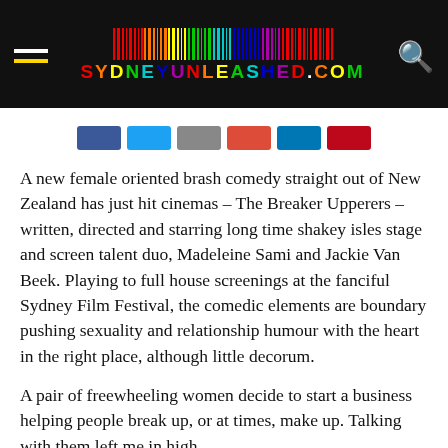SYDNEYUNLEASHED.COM
A new female oriented brash comedy straight out of New Zealand has just hit cinemas – The Breaker Upperers – written, directed and starring long time shakey isles stage and screen talent duo, Madeleine Sami and Jackie Van Beek. Playing to full house screenings at the fanciful Sydney Film Festival, the comedic elements are boundary pushing sexuality and relationship humour with the heart in the right place, although little decorum.
A pair of freewheeling women decide to start a business helping people break up, or at times, make up. Talking with them left me in high